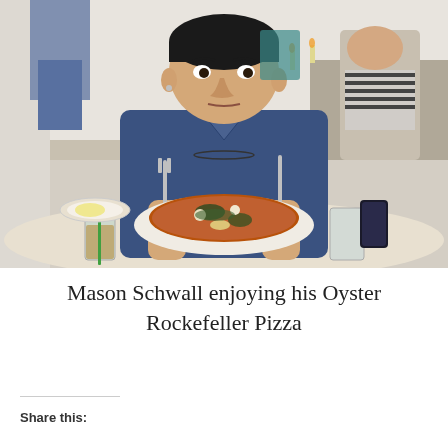[Figure (photo): A young man in a blue shirt eating pizza at a restaurant table, holding a fork and knife. The table has glasses, small dishes, and a pizza on a white plate. Other diners are visible in the background.]
Mason Schwall enjoying his Oyster Rockefeller Pizza
Share this: